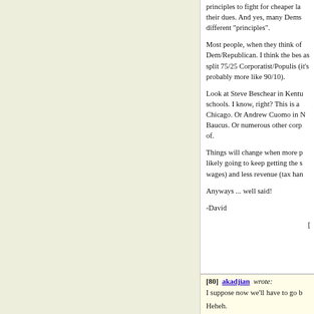principles to fight for cheaper la their dues. And yes, many Dems different "principles".
Most people, when they think of Dem/Republican. I think the bes as split 75/25 Corporatist/Populis (it's probably more like 90/10).
Look at Steve Beschear in Kentu schools. I know, right? This is a Chicago. Or Andrew Cuomo in N Baucus. Or numerous other corp of.
Things will change when more p likely going to keep getting the s wages) and less revenue (tax han
Anyways ... well said!
-David
[80]  akadjian  wrote:

I suppose now we'll have to go b

Heheh.